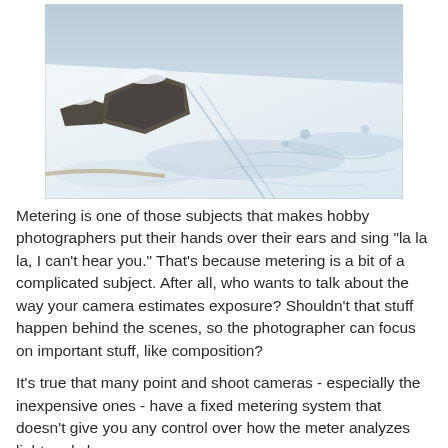[Figure (photo): Aerial or elevated view of a snow-covered mountain landscape with rocky outcroppings, ski tracks, and wind-swept snow patterns.]
Metering is one of those subjects that makes hobby photographers put their hands over their ears and sing "la la la, I can't hear you." That's because metering is a bit of a complicated subject. After all, who wants to talk about the way your camera estimates exposure? Shouldn't that stuff happen behind the scenes, so the photographer can focus on important stuff, like composition?
It's true that many point and shoot cameras - especially the inexpensive ones - have a fixed metering system that doesn't give you any control over how the meter analyzes light and chooses an